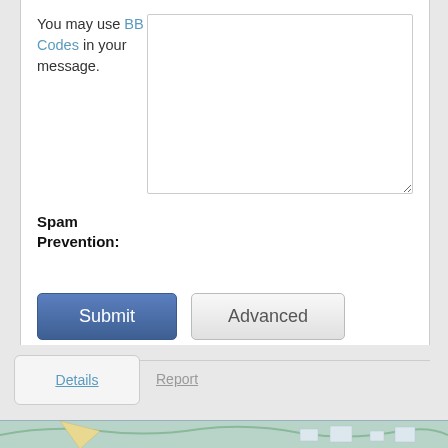You may use BB Codes in your message.
Spam Prevention:
[Figure (screenshot): Submit button (blue) and Advanced button (gray) for a web form]
[Figure (screenshot): Tab bar with 'Details' and 'Report' links]
[Figure (map): Map strip showing partial map view at bottom of page]